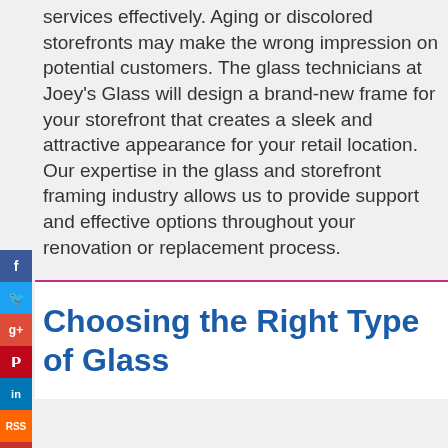services effectively. Aging or discolored storefronts may make the wrong impression on potential customers. The glass technicians at Joey's Glass will design a brand-new frame for your storefront that creates a sleek and attractive appearance for your retail location. Our expertise in the glass and storefront framing industry allows us to provide support and effective options throughout your renovation or replacement process.
Choosing the Right Type of Glass